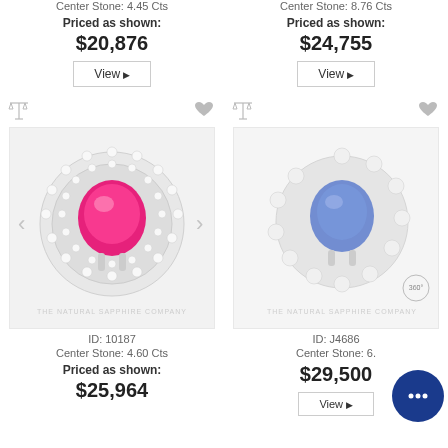Center Stone: 4.45 Cts
Center Stone: 8.76 Cts
Priced as shown:
$20,876
Priced as shown:
$24,755
[Figure (photo): Pink sapphire ring with double diamond halo in white gold. Brand watermark: THE NATURAL SAPPHIRE COMPANY]
[Figure (photo): Blue sapphire ring with diamond floral halo in white gold. Brand watermark: THE NATURAL SAPPHIRE COMPANY. 360 badge visible.]
ID: 10187
Center Stone: 4.60 Cts
Priced as shown:
$25,964
ID: J4686
Center Stone: 6.
$29,500